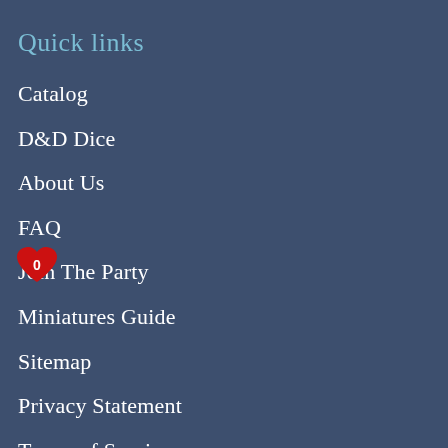Quick links
Catalog
D&D Dice
About Us
FAQ
Join The Party
Miniatures Guide
Sitemap
Privacy Statement
Terms of Service
Shipping Policy